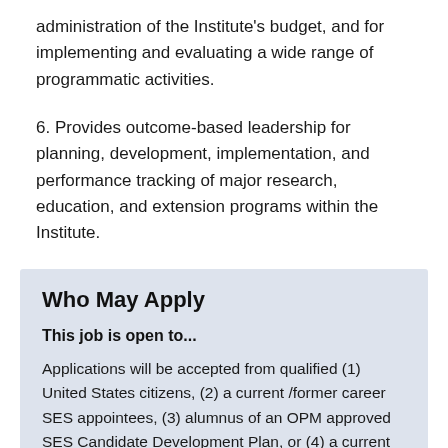administration of the Institute's budget, and for implementing and evaluating a wide range of programmatic activities.
6. Provides outcome-based leadership for planning, development, implementation, and performance tracking of major research, education, and extension programs within the Institute.
Who May Apply
This job is open to...
Applications will be accepted from qualified (1) United States citizens, (2) a current /former career SES appointees, (3) alumnus of an OPM approved SES Candidate Development Plan, or (4) a current